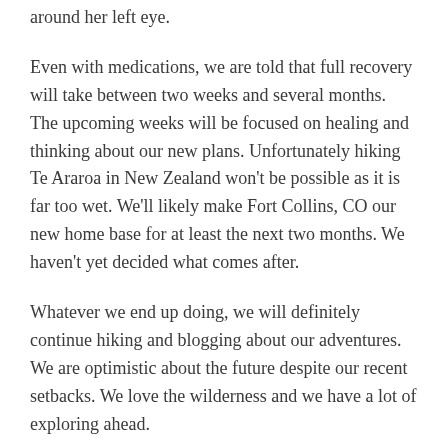around her left eye.
Even with medications, we are told that full recovery will take between two weeks and several months. The upcoming weeks will be focused on healing and thinking about our new plans. Unfortunately hiking Te Araroa in New Zealand won't be possible as it is far too wet. We'll likely make Fort Collins, CO our new home base for at least the next two months. We haven't yet decided what comes after.
Whatever we end up doing, we will definitely continue hiking and blogging about our adventures. We are optimistic about the future despite our recent setbacks. We love the wilderness and we have a lot of exploring ahead.
Share this:
Facebook  Twitter  Pinterest